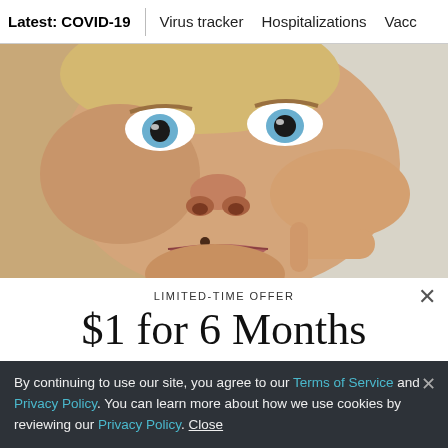Latest: COVID-19 | Virus tracker | Hospitalizations | Vacci
[Figure (photo): Close-up photo of a young person with blue eyes, finger near lip, with a small mole/mark near lip area. Background shows a whiteboard with writing.]
LIMITED-TIME OFFER
$1 for 6 Months
SUBSCRIBE NOW
By continuing to use our site, you agree to our Terms of Service and Privacy Policy. You can learn more about how we use cookies by reviewing our Privacy Policy. Close